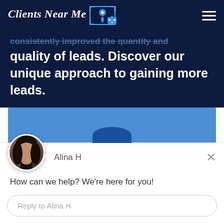Clients Near Me [logo icon]
consistently improved the quantity and quality of leads. Discover our unique approach to gaining more leads.
[Figure (screenshot): Drift chat widget showing agent Alina H with avatar photo, message 'How can we help? We're here for you!' and reply input box, with 'Chat by Drift' footer]
Alina H
How can we help? We're here for you!
Reply to Alina H
Chat ⚡ by Drift